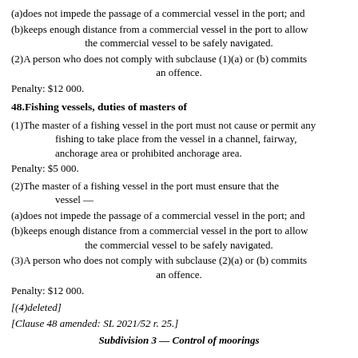(a)does not impede the passage of a commercial vessel in the port; and
(b)keeps enough distance from a commercial vessel in the port to allow the commercial vessel to be safely navigated.
(2)A person who does not comply with subclause (1)(a) or (b) commits an offence.
Penalty: $12 000.
48.Fishing vessels, duties of masters of
(1)The master of a fishing vessel in the port must not cause or permit any fishing to take place from the vessel in a channel, fairway, anchorage area or prohibited anchorage area.
Penalty: $5 000.
(2)The master of a fishing vessel in the port must ensure that the vessel —
(a)does not impede the passage of a commercial vessel in the port; and
(b)keeps enough distance from a commercial vessel in the port to allow the commercial vessel to be safely navigated.
(3)A person who does not comply with subclause (2)(a) or (b) commits an offence.
Penalty: $12 000.
[(4)deleted]
[Clause 48 amended: SL 2021/52 r. 25.]
Subdivision 3 — Control of moorings